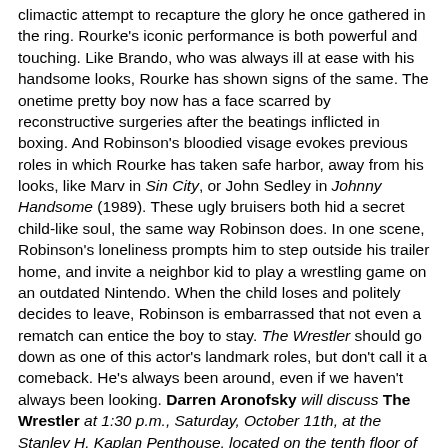climactic attempt to recapture the glory he once gathered in the ring. Rourke's iconic performance is both powerful and touching. Like Brando, who was always ill at ease with his handsome looks, Rourke has shown signs of the same. The onetime pretty boy now has a face scarred by reconstructive surgeries after the beatings inflicted in boxing. And Robinson's bloodied visage evokes previous roles in which Rourke has taken safe harbor, away from his looks, like Marv in Sin City, or John Sedley in Johnny Handsome (1989). These ugly bruisers both hid a secret child-like soul, the same way Robinson does. In one scene, Robinson's loneliness prompts him to step outside his trailer home, and invite a neighbor kid to play a wrestling game on an outdated Nintendo. When the child loses and politely decides to leave, Robinson is embarrassed that not even a rematch can entice the boy to stay. The Wrestler should go down as one of this actor's landmark roles, but don't call it a comeback. He's always been around, even if we haven't always been looking. Darren Aronofsky will discuss The Wrestler at 1:30 p.m., Saturday, October 11th, at the Stanley H. Kaplan Penthouse, located on the tenth floor of the Samuel B. and David Rose Building, 70 Lincoln Center Plaza, New York, New York, 10023; $16. The Wrestler is the Closing Night film